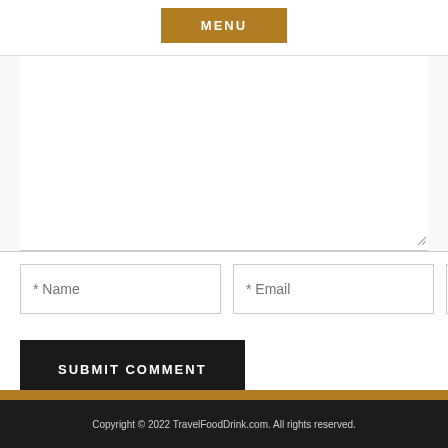MENU
[Figure (screenshot): Comment form textarea (empty), three input fields for Name, Email, Website, and a Submit Comment button]
Copyright © 2022 TravelFoodDrink.com. All rights reserved.